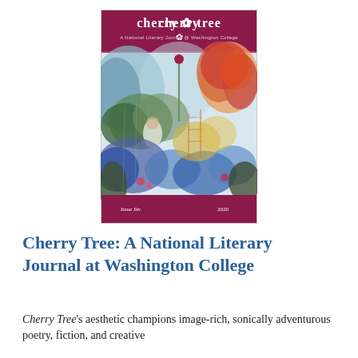[Figure (illustration): Cover of Cherry Tree: A National Literary Journal at Washington College, Issue Six, 2020. Maroon/crimson header and footer bands with the title 'cherry tree' and subtitle 'A National Literary Journal @ Washington College'. The cover image is a colorful impressionistic painting of a garden landscape with trees, flowers, and figures in blues, oranges, greens, and reds.]
Cherry Tree: A National Literary Journal at Washington College
Cherry Tree's aesthetic champions image-rich, sonically adventurous poetry, fiction, and creative